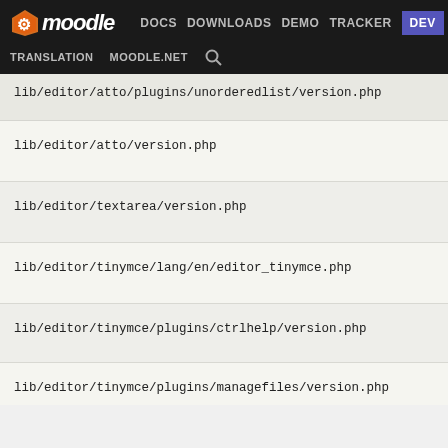moodle  DOCS  DOWNLOADS  DEMO  TRACKER  DEV  TRANSLATION  MOODLE.NET
lib/editor/atto/plugins/unorderedlist/version.php
lib/editor/atto/version.php
lib/editor/textarea/version.php
lib/editor/tinymce/lang/en/editor_tinymce.php
lib/editor/tinymce/plugins/ctrlhelp/version.php
lib/editor/tinymce/plugins/managefiles/version.php